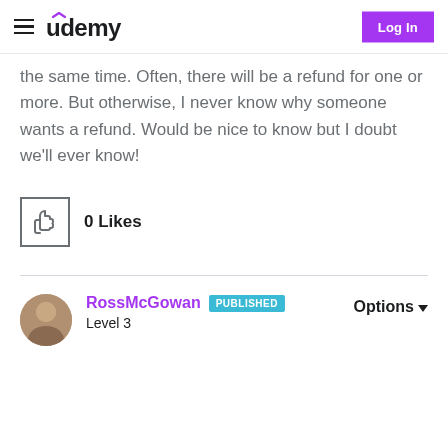Udemy — Log In
the same time. Often, there will be a refund for one or more. But otherwise, I never know why someone wants a refund. Would be nice to know but I doubt we'll ever know!
0 Likes
RossMcGowan PUBLISHED Level 3 — Options